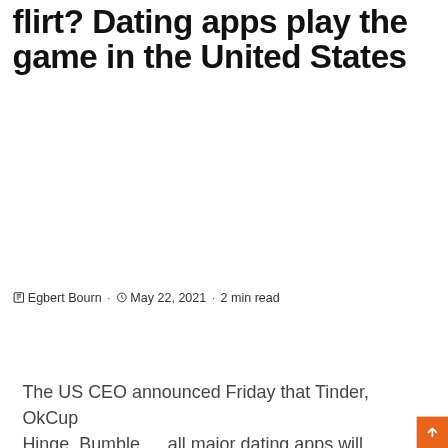flirt? Dating apps play the game in the United States
Egbert Bourn · May 22, 2021 · 2 min read
The US CEO announced Friday that Tinder, OkCupid, Hinge, Bumble … all major dating apps will unlock new features for people who have been vaccinated against